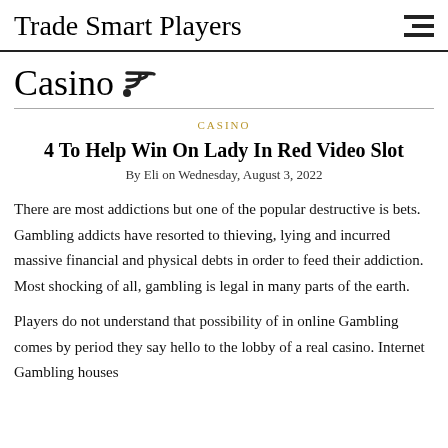Trade Smart Players
Casino
CASINO
4 To Help Win On Lady In Red Video Slot
By Eli on Wednesday, August 3, 2022
There are most addictions but one of the popular destructive is bets. Gambling addicts have resorted to thieving, lying and incurred massive financial and physical debts in order to feed their addiction. Most shocking of all, gambling is legal in many parts of the earth.
Players do not understand that possibility of in online Gambling comes by period they say hello to the lobby of a real casino. Internet Gambling houses